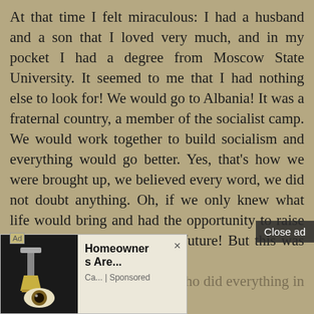At that time I felt miraculous: I had a husband and a son that I loved very much, and in my pocket I had a degree from Moscow State University. It seemed to me that I had nothing else to look for! We would go to Albania! It was a fraternal country, a member of the socialist camp. We would work together to build socialism and everything would go better. Yes, that's how we were brought up, we believed every word, we did not doubt anything. Oh, if we only knew what life would bring and had the opportunity to raise even the slightest bit of the future! But this was something impossible to predict. There were parents who did everything in their power to sever their children's ties with foreign students and not allow them to end up in marriage. My [text obscured by ad] ndering me; I was in Moscow, [text obscured] mmanding my own destiny. At [text obscured] together with the Albanian
[Figure (other): Advertisement overlay: 'Homeowners Are...' sponsored ad with a house lamp/eye image, partially covering the lower-left of the page. Also a 'Close ad' button in the upper right of the ad area.]